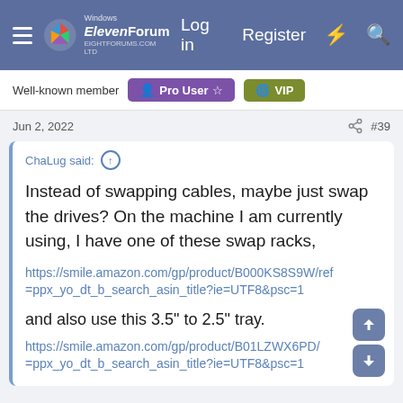Windows ElevenForum — Log in  Register
Well-known member  Pro User  VIP
Jun 2, 2022  #39
ChaLug said: ↑

Instead of swapping cables, maybe just swap the drives? On the machine I am currently using, I have one of these swap racks,

https://smile.amazon.com/gp/product/B000KS8S9W/ref=ppx_yo_dt_b_search_asin_title?ie=UTF8&psc=1

and also use this 3.5" to 2.5" tray.

https://smile.amazon.com/gp/product/B01LZWX6PD/ref=ppx_yo_dt_b_search_asin_title?ie=UTF8&psc=1